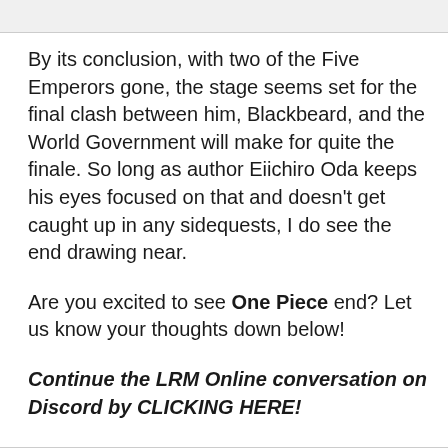By its conclusion, with two of the Five Emperors gone, the stage seems set for the final clash between him, Blackbeard, and the World Government will make for quite the finale. So long as author Eiichiro Oda keeps his eyes focused on that and doesn't get caught up in any sidequests, I do see the end drawing near.
Are you excited to see One Piece end? Let us know your thoughts down below!
Continue the LRM Online conversation on Discord by CLICKING HERE!